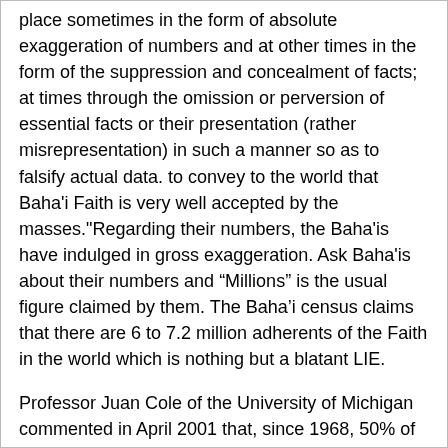place sometimes in the form of absolute exaggeration of numbers and at other times in the form of the suppression and concealment of facts; at times through the omission or perversion of essential facts or their presentation (rather misrepresentation) in such a manner so as to falsify actual data. to convey to the world that Baha'i Faith is very well accepted by the masses."Regarding their numbers, the Baha'is have indulged in gross exaggeration. Ask Baha'is about their numbers and “Millions” is the usual figure claimed by them. The Baha’i census claims that there are 6 to 7.2 million adherents of the Faith in the world which is nothing but a blatant LIE.
Professor Juan Cole of the University of Michigan commented in April 2001 that, since 1968, 50% of the people who entered the bahai faith have left it. According to him, the usual figure for most Christian denominations is approximately 80% retention, meaning about only 20% decide to leave once they become a member. See Professor Cole's comment below that even 5 million